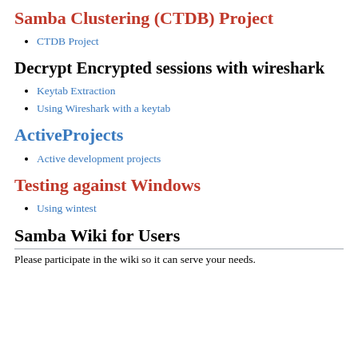Samba Clustering (CTDB) Project
CTDB Project
Decrypt Encrypted sessions with wireshark
Keytab Extraction
Using Wireshark with a keytab
ActiveProjects
Active development projects
Testing against Windows
Using wintest
Samba Wiki for Users
Please participate in the wiki so it can serve your needs.